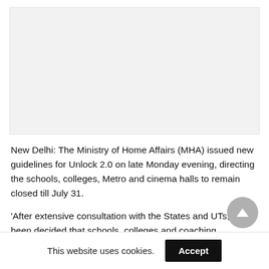[Figure (other): Advertisement or placeholder image area with light grey background]
New Delhi: The Ministry of Home Affairs (MHA) issued new guidelines for Unlock 2.0 on late Monday evening, directing the schools, colleges, Metro and cinema halls to remain closed till July 31.
'After extensive consultation with the States and UTs, it has been decided that schools, colleges and coaching
This website uses cookies.